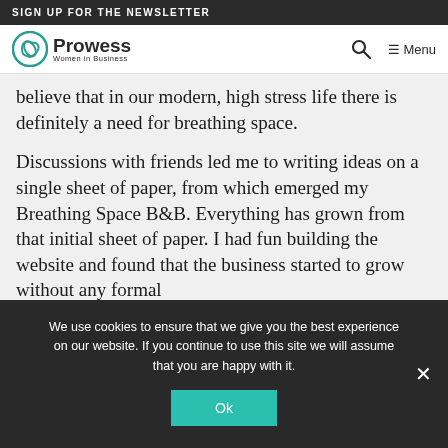SIGN UP FOR THE NEWSLETTER
Prowess Women in Business — Menu
believe that in our modern, high stress life there is definitely a need for breathing space.
Discussions with friends led me to writing ideas on a single sheet of paper, from which emerged my Breathing Space B&B. Everything has grown from that initial sheet of paper. I had fun building the website and found that the business started to grow without any formal marketing. Basically, another local women's B&B got my message out. I looked for other local women because I was doing it on my own and eventually my plans developed into something
We use cookies to ensure that we give you the best experience on our website. If you continue to use this site we will assume that you are happy with it.